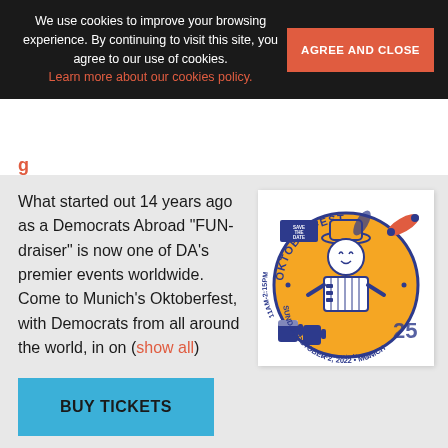We use cookies to improve your browsing experience. By continuing to visit this site, you agree to our use of cookies. Learn more about our cookies policy.
AGREE AND CLOSE
g
What started out 14 years ago as a Democrats Abroad “FUN-draiser” is now one of DA’s premier events worldwide. Come to Munich’s Oktoberfest, with Democrats from all around the world, in on (show all)
[Figure (illustration): Oktoberfest event flyer with orange circular badge, cartoon musician wearing a hat, playing accordion, surrounded by text: SAVE THE DATE, OKTOBERFEST, 11AM-2:15PM, SUNDAY, OCTOBER 2, 2022, MUNICH, Democrats Abroad]
BUY TICKETS